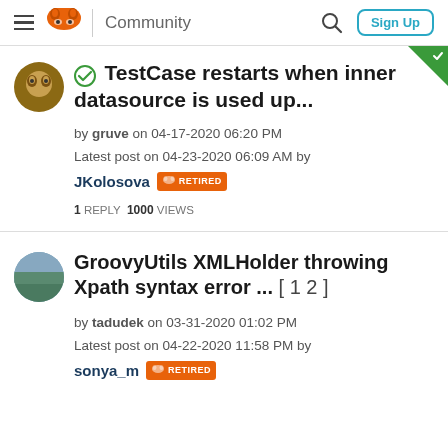Community — Sign Up
TestCase restarts when inner datasource is used up...
by gruve on 04-17-2020 06:20 PM
Latest post on 04-23-2020 06:09 AM by JKolosova RETIRED
1 REPLY 1000 VIEWS
GroovyUtils XMLHolder throwing Xpath syntax error ... [ 1 2 ]
by tadudek on 03-31-2020 01:02 PM
Latest post on 04-22-2020 11:58 PM by sonya_m RETIRED